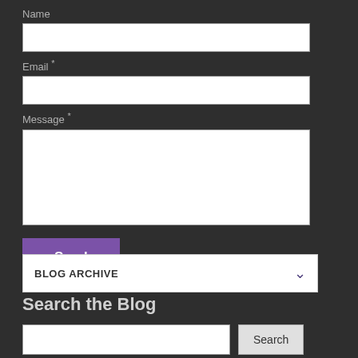Name
Email *
Message *
Send
BLOG ARCHIVE
Search the Blog
Search